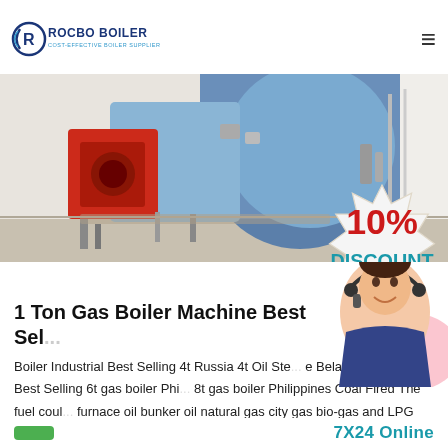ROCBO BOILER — COST-EFFECTIVE BOILER SUPPLIER
[Figure (photo): Industrial gas boiler in a factory setting, large blue cylindrical boiler with red burner components and piping visible, clean white-floored facility.]
1 Ton Gas Boiler Machine Best Sel...
Boiler Industrial Best Selling 4t Russia 4t Oil Ste... e Belarus. Industrial Best Selling 6t gas boiler Phi... 8t gas boiler Philippines Coal Fired The fuel coul... furnace oil bunker oil natural gas city gas bio-gas and LPG etc. F...
7X24 Online